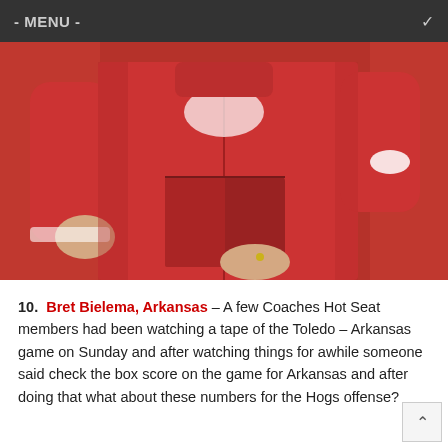- MENU -
[Figure (photo): A person wearing a red Arkansas Razorbacks coach jacket holding a red playbook/notepad. The torso and arms are visible with a Nike logo on the sleeve.]
10.  Bret Bielema, Arkansas – A few Coaches Hot Seat members had been watching a tape of the Toledo – Arkansas game on Sunday and after watching things for awhile someone said check the box score on the game for Arkansas and after doing that what about these numbers for the Hogs offense?